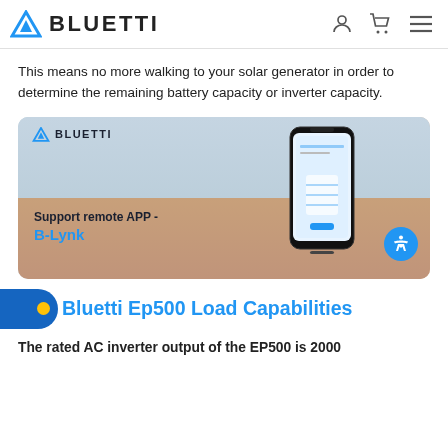BLUETTI
This means no more walking to your solar generator in order to determine the remaining battery capacity or inverter capacity.
[Figure (photo): BLUETTI branded image showing a hand holding a smartphone displaying an app interface. Text on image reads 'Support remote APP - B-Lynk'. An accessibility icon button appears in the bottom right.]
Bluetti Ep500 Load Capabilities
The rated AC inverter output of the EP500 is 2000